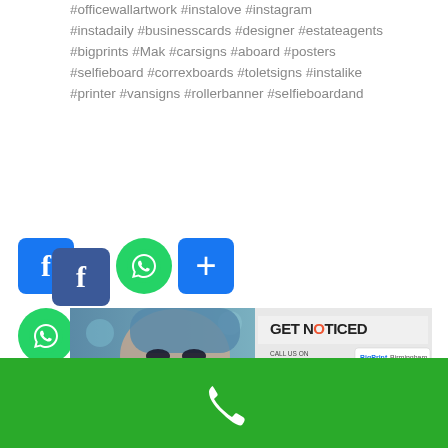#officewallartwork #instalove #instagram #instadaily #businesscards #designer #estateagents #bigprints #Mak #carsigns #aboard #posters #selfieboard #correxboards #toletsigns #instalike #printer #vansigns #rollerbanner #selfieboardand
[Figure (screenshot): Social share buttons: Facebook (two overlapping blue icons), WhatsApp (green circle), and a blue plus share button, with a second WhatsApp and plus button below]
By admin | June 21st, 2016 | Banner Printing, Large Format Printing, Pop Up Banners Design and Print, PVC Banners Design and Print, Roller Banners Design and Print | 0 Comments
Read More ›
[Figure (photo): Partial image of a woman with glamorous makeup and blue headscarf, alongside a 'GET NOTICED' promotional banner for Big Print Birmingham large format printers]
[Figure (other): Green footer bar with a white telephone/phone icon]